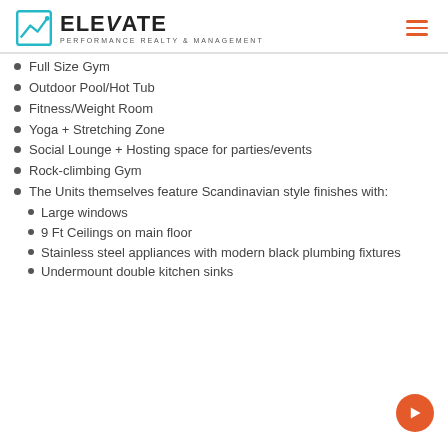ELEVATE PERFORMANCE REALTY & MANAGEMENT
Full Size Gym
Outdoor Pool/Hot Tub
Fitness/Weight Room
Yoga + Stretching Zone
Social Lounge + Hosting space for parties/events
Rock-climbing Gym
The Units themselves feature Scandinavian style finishes with:
Large windows
9 Ft Ceilings on main floor
Stainless steel appliances with modern black plumbing fixtures
Undermount double kitchen sinks